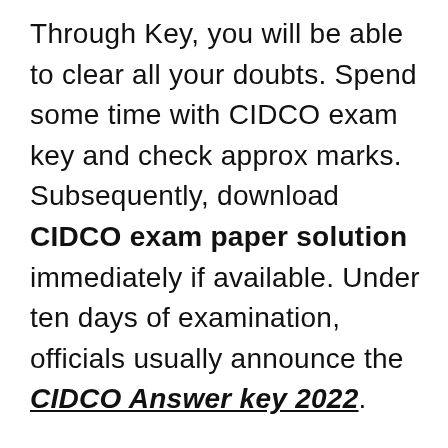Through Key, you will be able to clear all your doubts. Spend some time with CIDCO exam key and check approx marks. Subsequently, download CIDCO exam paper solution immediately if available. Under ten days of examination, officials usually announce the CIDCO Answer key 2022.